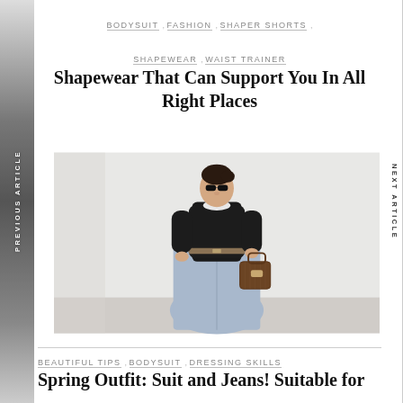BODYSUIT , FASHION , SHAPER SHORTS , SHAPEWEAR , WAIST TRAINER
Shapewear That Can Support You In All Right Places
[Figure (photo): Fashion photo of a woman wearing a black knit sweater over a white collared shirt, light blue wide-leg jeans, a brown belt, and carrying a brown Louis Vuitton bag, standing against a white wall]
BEAUTIFUL TIPS , BODYSUIT , DRESSING SKILLS
Spring Outfit: Suit and Jeans! Suitable for